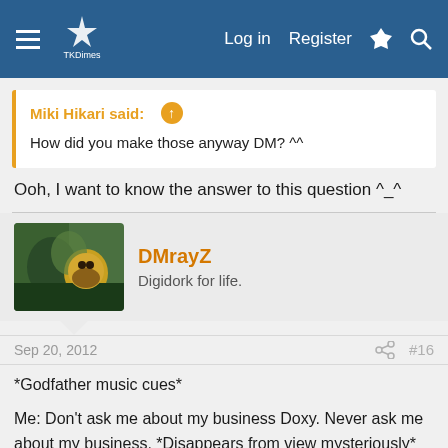TKDimes forum navigation bar with Log in, Register, lightning, and search icons
Miki Hikari said: ↑
How did you make those anyway DM? ^^
Ooh, I want to know the answer to this question ^_^
DMrayZ
Digidork for life.
Sep 20, 2012  #16
*Godfather music cues*

Me: Don't ask me about my business Doxy. Never ask me about my business. *Disappears from view mysteriously*

Future Me: Well... That was... yeah...